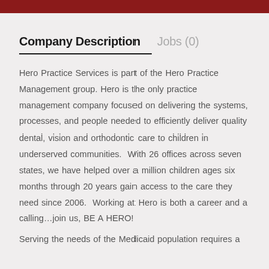Company Description   Jobs (0)
Hero Practice Services is part of the Hero Practice Management group. Hero is the only practice management company focused on delivering the systems, processes, and people needed to efficiently deliver quality dental, vision and orthodontic care to children in underserved communities.  With 26 offices across seven states, we have helped over a million children ages six months through 20 years gain access to the care they need since 2006.  Working at Hero is both a career and a calling…join us, BE A HERO!
Serving the needs of the Medicaid population requires a